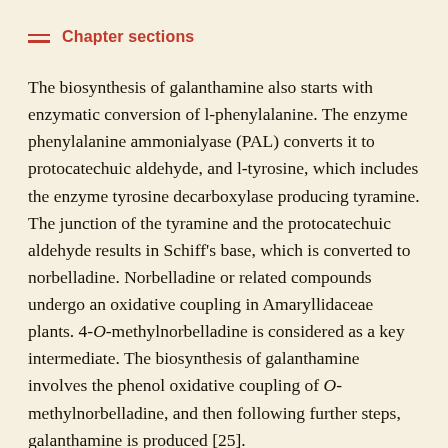Chapter sections
The biosynthesis of galanthamine also starts with enzymatic conversion of l-phenylalanine. The enzyme phenylalanine ammonialyase (PAL) converts it to protocatechuic aldehyde, and l-tyrosine, which includes the enzyme tyrosine decarboxylase producing tyramine. The junction of the tyramine and the protocatechuic aldehyde results in Schiff's base, which is converted to norbelladine. Norbelladine or related compounds undergo an oxidative coupling in Amaryllidaceae plants. 4-O-methylnorbelladine is considered as a key intermediate. The biosynthesis of galanthamine involves the phenol oxidative coupling of O-methylnorbelladine, and then following further steps, galanthamine is produced [25].